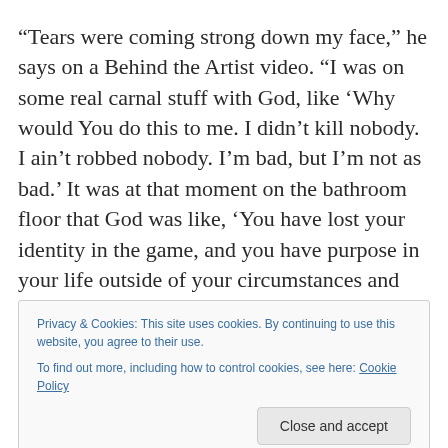“Tears were coming strong down my face,” he says on a Behind the Artist video. “I was on some real carnal stuff with God, like ‘Why would You do this to me. I didn’t kill nobody. I ain’t robbed nobody. I’m bad, but I’m not as bad.’ It was at that moment on the bathroom floor that God was like, ‘You have lost your identity in the game, and you have purpose in your life outside of your circumstances and
Privacy & Cookies: This site uses cookies. By continuing to use this website, you agree to their use.
To find out more, including how to control cookies, see here: Cookie Policy
Close and accept
youth avoid gangs, violence and drugs by discovering their